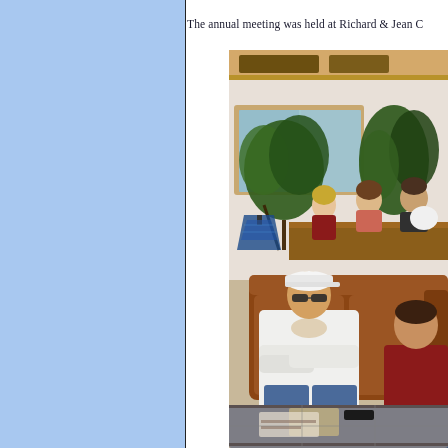The annual meeting was held at Richard & Jean C
[Figure (photo): Indoor gathering photo showing several people seated in a living room with leather couches, plants, and a Tiffany-style lamp. A man in a white cap and white long-sleeve shirt sits in the foreground with arms crossed. Two women and another person are visible in the background near a wooden counter or bar area. A glass-top coffee table is visible in the foreground.]